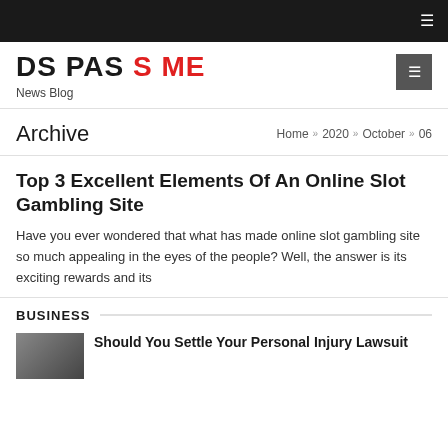☰
DS PAS S ME
News Blog
Archive
Home » 2020 » October » 06
Top 3 Excellent Elements Of An Online Slot Gambling Site
Have you ever wondered that what has made online slot gambling site so much appealing in the eyes of the people? Well, the answer is its exciting rewards and its
BUSINESS
Should You Settle Your Personal Injury Lawsuit